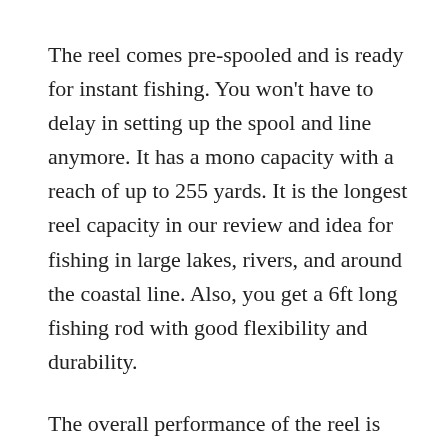The reel comes pre-spooled and is ready for instant fishing. You won't have to delay in setting up the spool and line anymore. It has a mono capacity with a reach of up to 255 yards. It is the longest reel capacity in our review and idea for fishing in large lakes, rivers, and around the coastal line. Also, you get a 6ft long fishing rod with good flexibility and durability.
The overall performance of the reel is consistent. Lastly, the durable construction and easy retrieval of the reel make it a suitable option for experts and newbies alike.